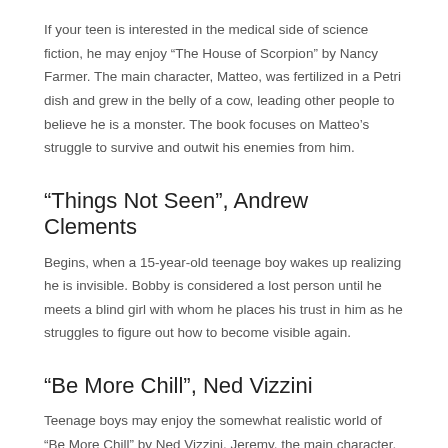If your teen is interested in the medical side of science fiction, he may enjoy “The House of Scorpion” by Nancy Farmer. The main character, Matteo, was fertilized in a Petri dish and grew in the belly of a cow, leading other people to believe he is a monster. The book focuses on Matteo’s struggle to survive and outwit his enemies from him.
“Things Not Seen”, Andrew Clements
Begins, when a 15-year-old teenage boy wakes up realizing he is invisible. Bobby is considered a lost person until he meets a blind girl with whom he places his trust in him as he struggles to figure out how to become visible again.
“Be More Chill”, Ned Vizzini
Teenage boys may enjoy the somewhat realistic world of “Be More Chill” by Ned Vizzini. Jeremy, the main character, is a slightly dorky